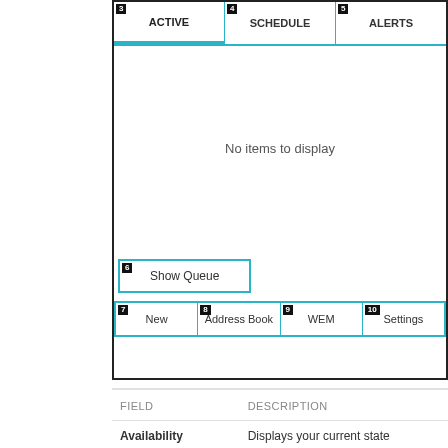[Figure (screenshot): UI panel showing tabs: ACTIVE (tab 3, selected), SCHEDULE (tab 4), ALERTS (tab 5). Content area shows 'No items to display'. Below: Show Queue button (6). Bottom buttons: New (7), Address Book (8), WEM (9), Settings (10).]
| FIELD | DESCRIPTION |
| --- | --- |
| Availability | Displays your current state |